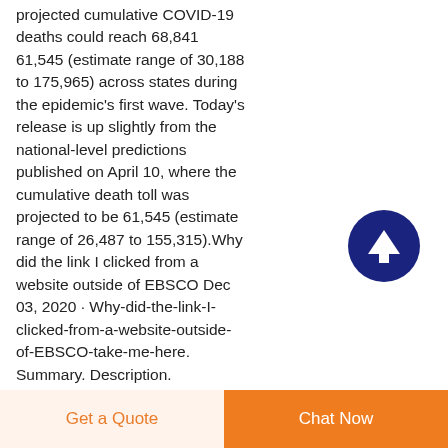projected cumulative COVID-19 deaths could reach 68,841 61,545 (estimate range of 30,188 to 175,965) across states during the epidemic's first wave. Today's release is up slightly from the national-level predictions published on April 10, where the cumulative death toll was projected to be 61,545 (estimate range of 26,487 to 155,315).Why did the link I clicked from a website outside of EBSCO Dec 03, 2020 · Why-did-the-link-I-clicked-from-a-website-outside-of-EBSCO-take-me-here. Summary. Description.
[Figure (other): Dark navy circular scroll-to-top button with white upward arrow icon]
[Figure (other): Footer bar with two buttons: 'Get a Quote' (light orange background, orange text) and 'Chat Now' (orange background, white text)]